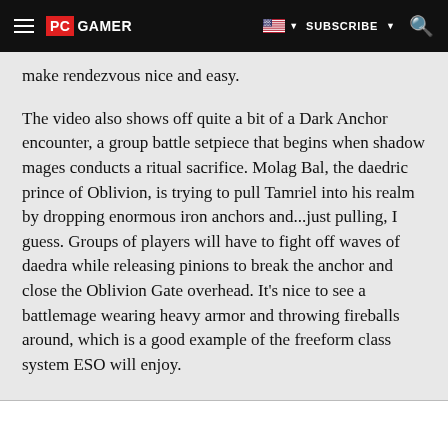PC GAMER | SUBSCRIBE
make rendezvous nice and easy.
The video also shows off quite a bit of a Dark Anchor encounter, a group battle setpiece that begins when shadow mages conducts a ritual sacrifice. Molag Bal, the daedric prince of Oblivion, is trying to pull Tamriel into his realm by dropping enormous iron anchors and...just pulling, I guess. Groups of players will have to fight off waves of daedra while releasing pinions to break the anchor and close the Oblivion Gate overhead. It's nice to see a battlemage wearing heavy armor and throwing fireballs around, which is a good example of the freeform class system ESO will enjoy.